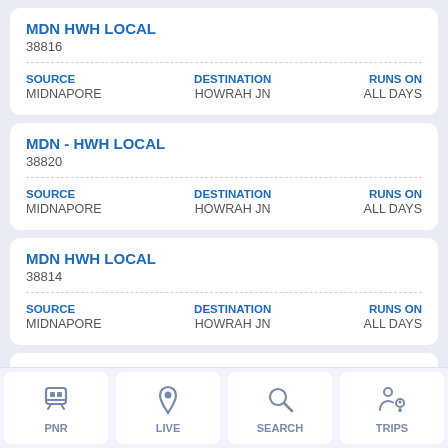MDN HWH LOCAL
38816
SOURCE: MIDNAPORE | DESTINATION: HOWRAH JN | RUNS ON: ALL DAYS
MDN - HWH LOCAL
38820
SOURCE: MIDNAPORE | DESTINATION: HOWRAH JN | RUNS ON: ALL DAYS
MDN HWH LOCAL
38814
SOURCE: MIDNAPORE | DESTINATION: HOWRAH JN | RUNS ON: ALL DAYS
MDN-HWH LOCAL
38812 (partial)
[Figure (screenshot): Bottom navigation bar with PNR, LIVE, SEARCH, TRIPS icons]